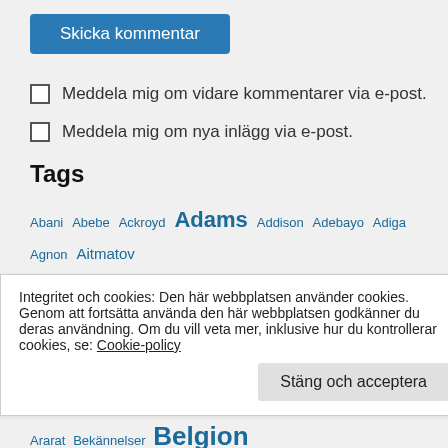Skicka kommentar
Meddela mig om vidare kommentarer via e-post.
Meddela mig om nya inlägg via e-post.
Tags
Abani Abebe Ackroyd Adams Addison Adebayo Adiga Agnon Aitmatov Ajvide-Lindqvist Alcott Aleixandre Aleksijevitj Alfredsson Allende Almqvist Alsterdal Alvarez Alving Andersson Andric Anyuru Appelqvist
Integritet och cookies: Den här webbplatsen använder cookies. Genom att fortsätta använda den här webbplatsen godkänner du deras användning. Om du vill veta mer, inklusive hur du kontrollerar cookies, se: Cookie-policy
Stäng och acceptera
Belgion